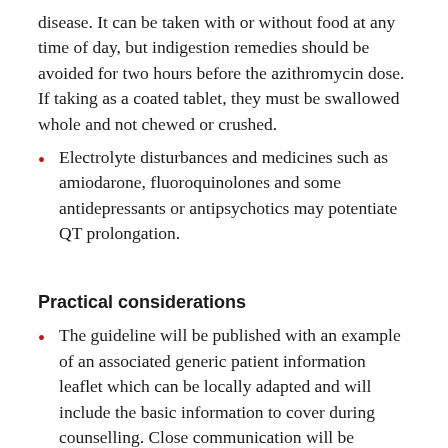disease. It can be taken with or without food at any time of day, but indigestion remedies should be avoided for two hours before the azithromycin dose. If taking as a coated tablet, they must be swallowed whole and not chewed or crushed.
Electrolyte disturbances and medicines such as amiodarone, fluoroquinolones and some antidepressants or antipsychotics may potentiate QT prolongation.
Practical considerations
The guideline will be published with an example of an associated generic patient information leaflet which can be locally adapted and will include the basic information to cover during counselling. Close communication will be